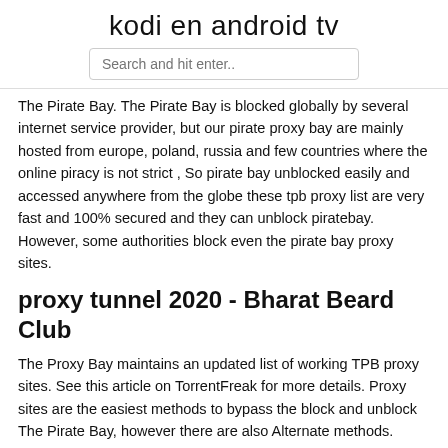kodi en android tv
Search and hit enter..
The Pirate Bay. The Pirate Bay is blocked globally by several internet service provider, but our pirate proxy bay are mainly hosted from europe, poland, russia and few countries where the online piracy is not strict , So pirate bay unblocked easily and accessed anywhere from the globe these tpb proxy list are very fast and 100% secured and they can unblock piratebay. However, some authorities block even the pirate bay proxy sites.
proxy tunnel 2020 - Bharat Beard Club
The Proxy Bay maintains an updated list of working TPB proxy sites. See this article on TorrentFreak for more details. Proxy sites are the easiest methods to bypass the block and unblock The Pirate Bay, however there are also Alternate methods. Another list of proxy sites can be found at Torrends.to.